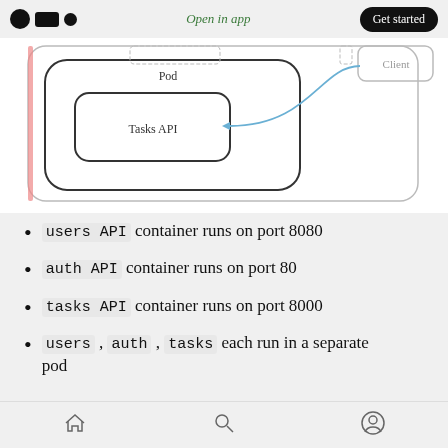Open in app | Get started
[Figure (engineering-diagram): Kubernetes Pod diagram showing a Pod containing a Tasks API container, with a blue arrow from a Client box pointing to the Tasks API container. The Pod is shown with nested rounded rectangles.]
users API container runs on port 8080
auth API container runs on port 80
tasks API container runs on port 8000
users, auth, tasks each run in a separate pod
Home | Search | Profile